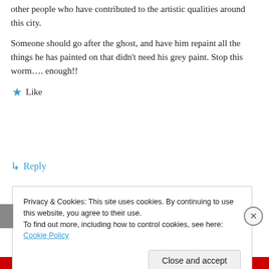other people who have contributed to the artistic qualities around this city.
Someone should go after the ghost, and have him repaint all the things he has painted on that didn't need his grey paint. Stop this worm.... enough!!
★ Like
↳ Reply
Privacy & Cookies: This site uses cookies. By continuing to use this website, you agree to their use.
To find out more, including how to control cookies, see here: Cookie Policy
Close and accept